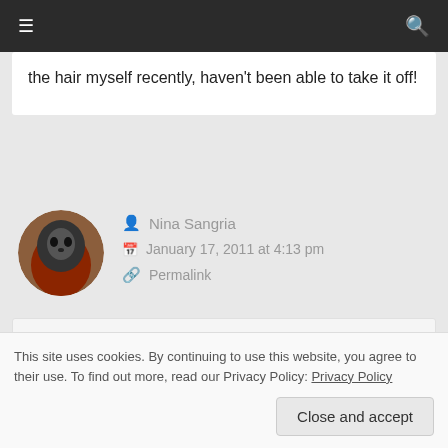≡  🔍
the hair myself recently, haven't been able to take it off!
Nina Sangria
January 17, 2011 at 4:13 pm
Permalink
Holy crap, minus the w in my name kthx
This site uses cookies. By continuing to use this website, you agree to their use. To find out more, read our Privacy Policy: Privacy Policy